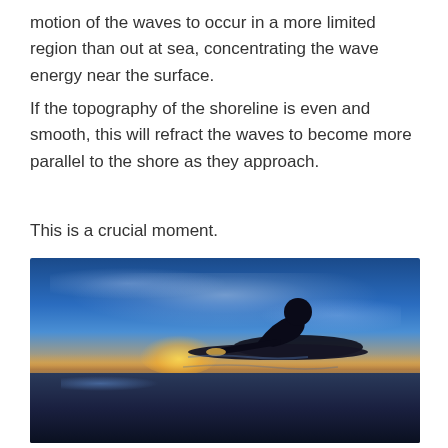motion of the waves to occur in a more limited region than out at sea, concentrating the wave energy near the surface.
If the topography of the shoreline is even and smooth, this will refract the waves to become more parallel to the shore as they approach.
This is a crucial moment.
[Figure (photo): A surfer lying on a surfboard in the ocean, silhouetted against a dramatic sunset sky with blue tones, wispy clouds, and a bright sun glow near the horizon.]